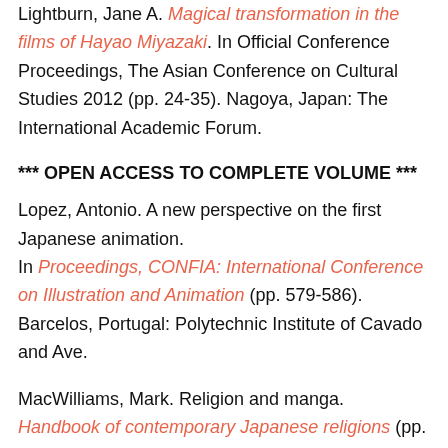Lightburn, Jane A. Magical transformation in the films of Hayao Miyazaki. In Official Conference Proceedings, The Asian Conference on Cultural Studies 2012 (pp. 24-35). Nagoya, Japan: The International Academic Forum.
*** OPEN ACCESS TO COMPLETE VOLUME ***
Lopez, Antonio. A new perspective on the first Japanese animation. In Proceedings, CONFIA: International Conference on Illustration and Animation (pp. 579-586). Barcelos, Portugal: Polytechnic Institute of Cavado and Ave.
MacWilliams, Mark. Religion and manga. Handbook of contemporary Japanese religions (pp. 595-628). Leiden, The Netherlands: Brill.
Mihara, Tetsuya, et al. A metadata-centric approach